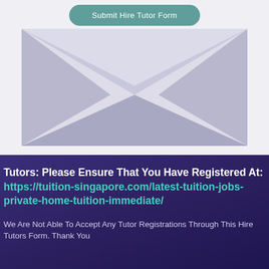[Figure (illustration): A teal rounded-rectangle button labeled 'Submit Hire Tutor Form' above an open envelope illustration in shades of lavender and light purple on a light grey background.]
Tutors: Please Ensure That You Have Registered At: https://tuition-singapore.com/latest-tuition-jobs-private-home-tuition-immediate/
We Are Not Able To Accept Any Tutor Registrations Through This Hire Tutors Form. Thank You